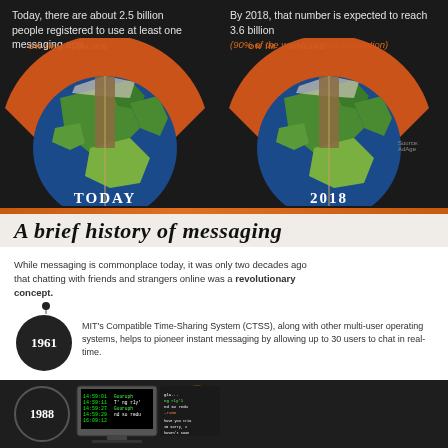Today, there are about 2.5 billion people registered to use at least one messaging app.
By 2018, that number is expected to reach 3.6 billion (90% of the world's online population)
[Figure (infographic): Two hemisphere globe illustrations showing proportion of people on IM vs online today and in 2018. Left shows TODAY with orange segment for ON IM, right shows 2018 with similar orange segment. Labels: ON IM, ONLINE, TODAY, 2018.]
A BRIEF HISTORY OF MESSAGING
While messaging is commonplace today, it was only two decades ago that chatting with friends and strangers online was a revolutionary concept.
1961 — MIT's Compatible Time-Sharing System (CTSS), along with other multi-user operating systems, helps to pioneer instant messaging by allowing up to 30 users to chat in real-time.
[Figure (infographic): Dark section showing 1988 year circle with IRC description and an illustration of a person using an old computer with chat terminal screen.]
Internet Relay Chat (IRC) allows users to connect to networks with client software to chat with groups in real-time. IRC peaked in popularity in the 1990s, but still has hundreds of thousands of users today.